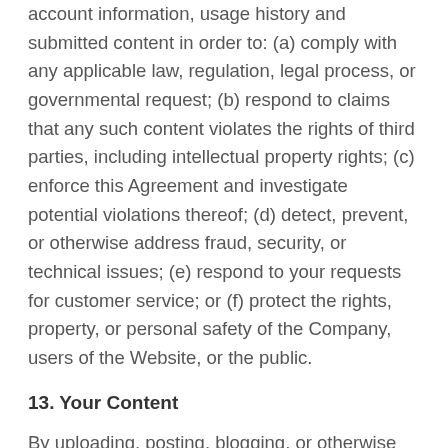account information, usage history and submitted content in order to: (a) comply with any applicable law, regulation, legal process, or governmental request; (b) respond to claims that any such content violates the rights of third parties, including intellectual property rights; (c) enforce this Agreement and investigate potential violations thereof; (d) detect, prevent, or otherwise address fraud, security, or technical issues; (e) respond to your requests for customer service; or (f) protect the rights, property, or personal safety of the Company, users of the Website, or the public.
13. Your Content
By uploading, posting, blogging, or otherwise providing content to the Website for the purposes stated herein, you hereby grant the Company a perpetual, irrevocable, worldwide right and license to copy, use, reproduce, distribute, redistribute, publish, republish, upload, post, transmit, broadcast, modify, alter, create derivative works of, package, repackage, produce and sell copies of such content through the Website.